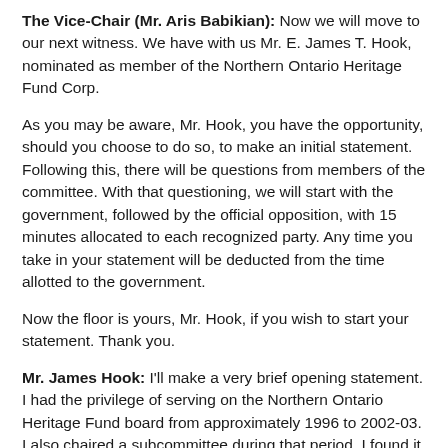The Vice-Chair (Mr. Aris Babikian): Now we will move to our next witness. We have with us Mr. E. James T. Hook, nominated as member of the Northern Ontario Heritage Fund Corp.
As you may be aware, Mr. Hook, you have the opportunity, should you choose to do so, to make an initial statement. Following this, there will be questions from members of the committee. With that questioning, we will start with the government, followed by the official opposition, with 15 minutes allocated to each recognized party. Any time you take in your statement will be deducted from the time allotted to the government.
Now the floor is yours, Mr. Hook, if you wish to start your statement. Thank you.
Mr. James Hook: I'll make a very brief opening statement. I had the privilege of serving on the Northern Ontario Heritage Fund board from approximately 1996 to 2002-03. I also chaired a subcommittee during that period. I found it...